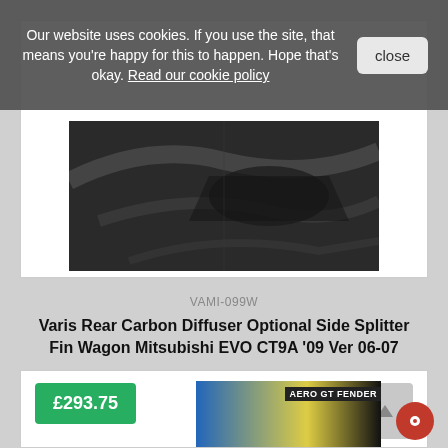Our website uses cookies. If you use the site, that means you're happy for this to happen. Hope that's okay. Read our cookie policy
close
[Figure (photo): Car part photo showing carbon fiber rear diffuser component in dark/shadow lighting]
VAMI-099W
Varis Rear Carbon Diffuser Optional Side Splitter Fin Wagon Mitsubishi EVO CT9A '09 Ver 06-07
ADD TO CART
£293.75
[Figure (photo): Product photo showing AERO GT FENDER part with blue and yellow car panel visible]